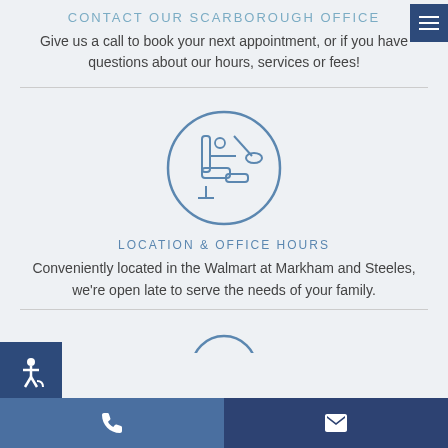CONTACT OUR SCARBOROUGH OFFICE
Give us a call to book your next appointment, or if you have questions about our hours, services or fees!
[Figure (illustration): Circle icon with a dental chair illustration in blue outline style]
LOCATION & OFFICE HOURS
Conveniently located in the Walmart at Markham and Steeles, we're open late to serve the needs of your family.
[Figure (illustration): Partial circle icon visible at the bottom of the page (cut off)]